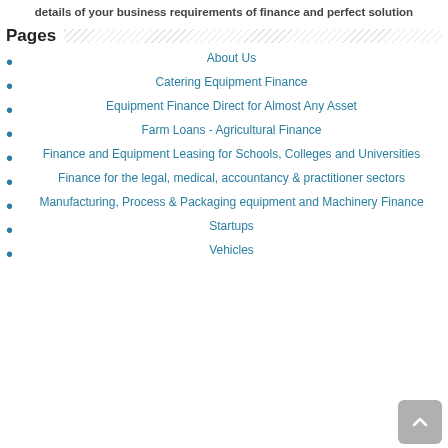details of your business requirements of finance and perfect solution
Pages
About Us
Catering Equipment Finance
Equipment Finance Direct for Almost Any Asset
Farm Loans - Agricultural Finance
Finance and Equipment Leasing for Schools, Colleges and Universities
Finance for the legal, medical, accountancy & practitioner sectors
Manufacturing, Process & Packaging equipment and Machinery Finance
Startups
Vehicles